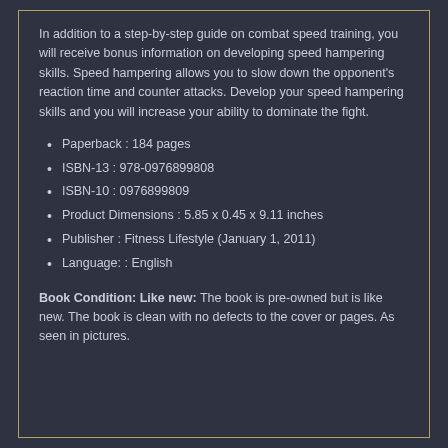In addition to a step-by-step guide on combat speed training, you will receive bonus information on developing speed hampering skills. Speed hampering allows you to slow down the opponent's reaction time and counter attacks. Develop your speed hampering skills and you will increase your ability to dominate the fight.
Paperback : 184 pages
ISBN-13 : 978-0976899808
ISBN-10 : 0976899809
Product Dimensions : 5.85 x 0.45 x 9.11 inches
Publisher : Fitness Lifestyle (January 1, 2011)
Language: : English
Book Condition: Like new: The book is pre-owned but is like new. The book is clean with no defects to the cover or pages. As seen in pictures.